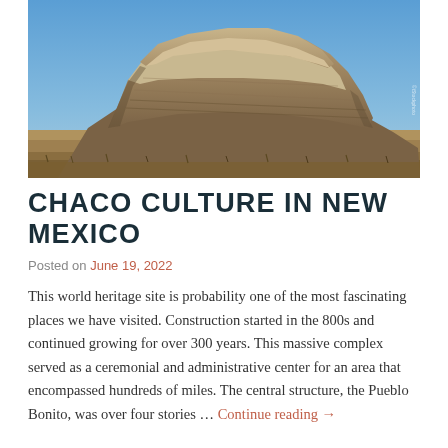[Figure (photo): Photograph of a sandstone mesa butte under a clear blue sky in the desert landscape of New Mexico, Chaco Culture area. Tan rocky cliffs with layered sediment, dry grassland in foreground.]
CHACO CULTURE IN NEW MEXICO
Posted on June 19, 2022
This world heritage site is probability one of the most fascinating places we have visited. Construction started in the 800s and continued growing for over 300 years. This massive complex served as a ceremonial and administrative center for an area that encompassed hundreds of miles. The central structure, the Pueblo Bonito, was over four stories … Continue reading →